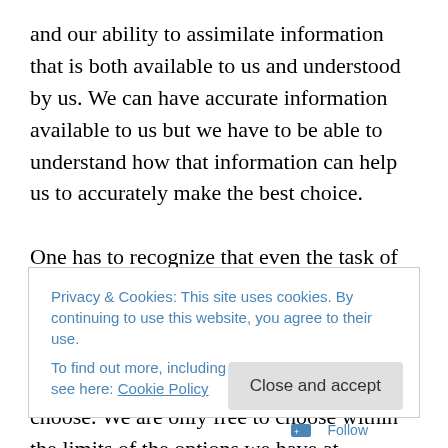and our ability to assimilate information that is both available to us and understood by us. We can have accurate information available to us but we have to be able to understand how that information can help us to accurately make the best choice.

One has to recognize that even the task of “making the best choice” is relative. In this sense, the whole concept of “free-will” is both possible and impossible. We are not free to choose what we “will” or want to choose. We are only free to choose within the limits of the options we have at
Privacy & Cookies: This site uses cookies. By continuing to use this website, you agree to their use.
To find out more, including how to control cookies, see here: Cookie Policy
Close and accept